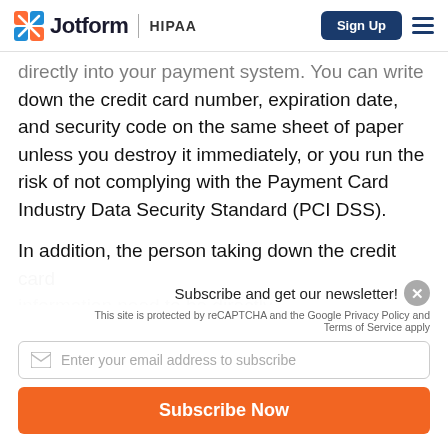Jotform | HIPAA
directly into your payment system. You can write down the credit card number, expiration date, and security code on the same sheet of paper unless you destroy it immediately, or you run the risk of not complying with the Payment Card Industry Data Security Standard (PCI DSS).
In addition, the person taking down the credit card information need to be directly...
Subscribe and get our newsletter!
This site is protected by reCAPTCHA and the Google Privacy Policy and Terms of Service apply
Enter your email address to subscribe
Subscribe Now